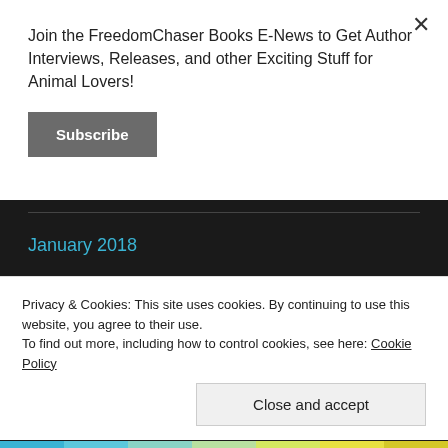Join the FreedomChaser Books E-News to Get Author Interviews, Releases, and other Exciting Stuff for Animal Lovers!
Subscribe
January 2018
December 2017
November 2017
Privacy & Cookies: This site uses cookies. By continuing to use this website, you agree to their use.
To find out more, including how to control cookies, see here: Cookie Policy
Close and accept